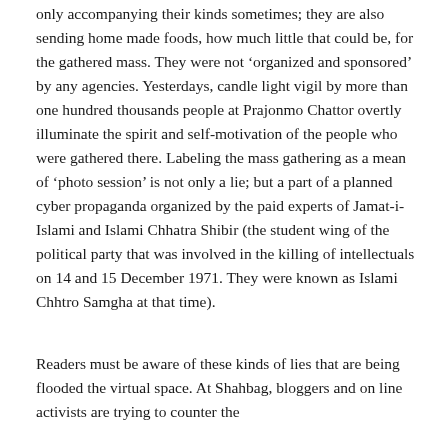only accompanying their kinds sometimes; they are also sending home made foods, how much little that could be, for the gathered mass. They were not 'organized and sponsored' by any agencies. Yesterdays, candle light vigil by more than one hundred thousands people at Prajonmo Chattor overtly illuminate the spirit and self-motivation of the people who were gathered there. Labeling the mass gathering as a mean of 'photo session' is not only a lie; but a part of a planned cyber propaganda organized by the paid experts of Jamat-i-Islami and Islami Chhatra Shibir (the student wing of the political party that was involved in the killing of intellectuals on 14 and 15 December 1971. They were known as Islami Chhtro Samgha at that time).
Readers must be aware of these kinds of lies that are being flooded the virtual space. At Shahbag, bloggers and on line activists are trying to counter the